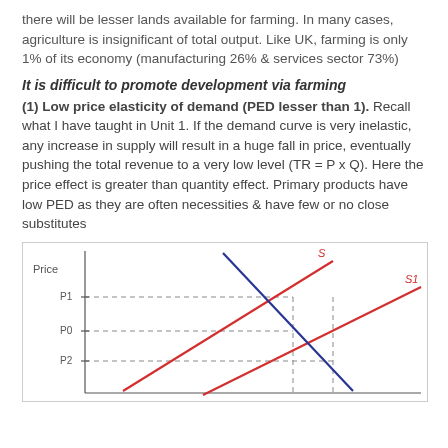there will be lesser lands available for farming. In many cases, agriculture is insignificant of total output. Like UK, farming is only 1% of its economy (manufacturing 26% & services sector 73%)
It is difficult to promote development via farming
(1) Low price elasticity of demand (PED lesser than 1). Recall what I have taught in Unit 1. If the demand curve is very inelastic, any increase in supply will result in a huge fall in price, eventually pushing the total revenue to a very low level (TR = P x Q). Here the price effect is greater than quantity effect. Primary products have low PED as they are often necessities & have few or no close substitutes
[Figure (continuous-plot): Supply and demand diagram showing inelastic demand curve (steep dark blue line) and two supply curves S (original, red) and S1 (shifted right, red). Price labels P1, P0, P2 on y-axis, with dashed lines showing equilibrium price falls from P1 to P0 to P2 as supply shifts outward. Axes labeled Price (vertical).]